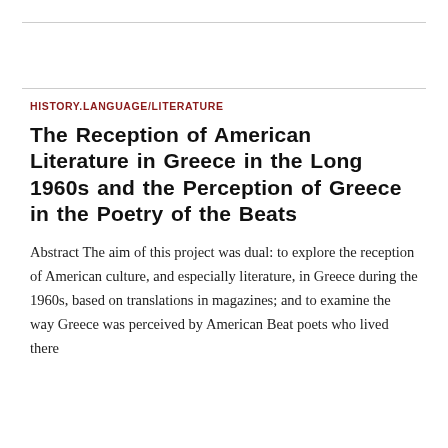HISTORY.LANGUAGE/LITERATURE
The Reception of American Literature in Greece in the Long 1960s and the Perception of Greece in the Poetry of the Beats
Abstract The aim of this project was dual: to explore the reception of American culture, and especially literature, in Greece during the 1960s, based on translations in magazines; and to examine the way Greece was perceived by American Beat poets who lived there